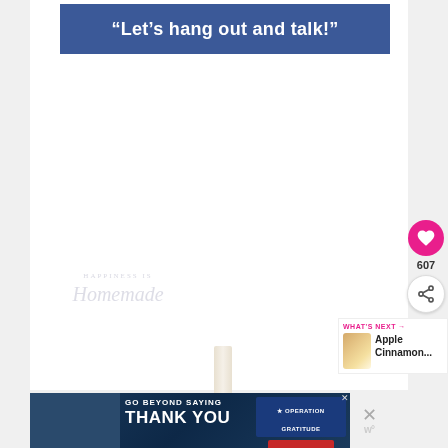“Let’s hang out and talk!”
[Figure (illustration): White blank area with a faded watermark reading 'Happiness is Homemade' in script font]
[Figure (infographic): Pink heart/like button with count 607 and a share button below]
[Figure (infographic): What's Next panel with thumbnail image and text 'Apple Cinnamon...']
[Figure (infographic): Bottom advertisement banner: GO BEYOND SAYING THANK YOU - Operation Gratitude JOIN US]
[Figure (other): Close X button and website logo on right side of ad]